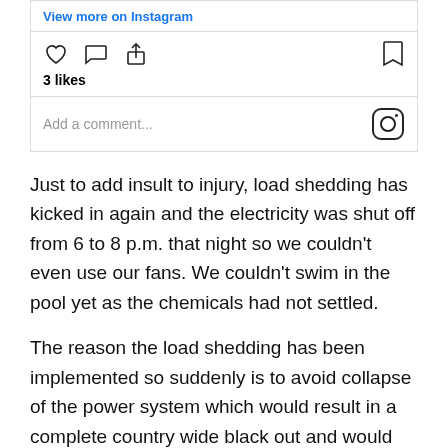[Figure (screenshot): Instagram post interaction bar showing 'View more on Instagram' link, action icons (heart, comment, share, bookmark), '3 likes', and 'Add a comment...' input with Instagram logo]
Just to add insult to injury, load shedding has kicked in again and the electricity was shut off from 6 to 8 p.m. that night so we couldn't even use our fans. We couldn't swim in the pool yet as the chemicals had not settled.
The reason the load shedding has been implemented so suddenly is to avoid collapse of the power system which would result in a complete country wide black out and would take